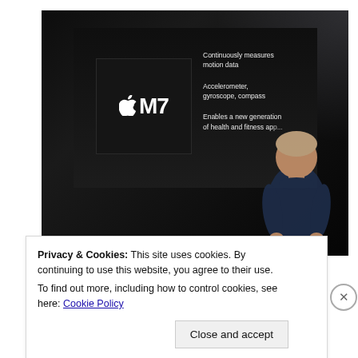[Figure (photo): A presentation slide showing Apple M7 chip with text: 'Continuously measures motion data', 'Accelerometer, gyroscope, compass', 'Enables a new generation of health and fitness app...' A man in dark blue shirt stands in front of the slide on a dark stage.]
Privacy & Cookies: This site uses cookies. By continuing to use this website, you agree to their use.
To find out more, including how to control cookies, see here: Cookie Policy